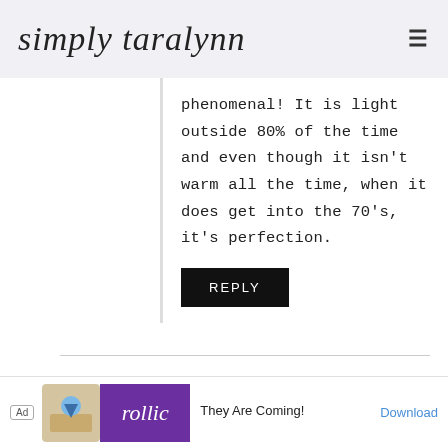simply taralynn
phenomenal! It is light outside 80% of the time and even though it isn't warm all the time, when it does get into the 70's, it's perfection.
REPLY
MONICA says
February 29, 2016 at 11:05 pm
[Figure (other): Advertisement banner: Ad badge, game icon, rollic logo (purple), text 'They Are Coming!', Download button]